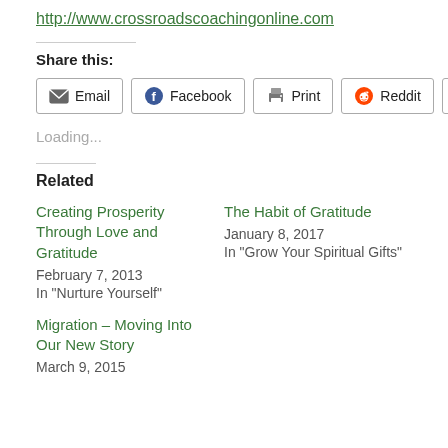http://www.crossroadscoachingonline.com
Share this:
Email  Facebook  Print  Reddit  Twitter
Loading...
Related
Creating Prosperity Through Love and Gratitude
February 7, 2013
In "Nurture Yourself"
The Habit of Gratitude
January 8, 2017
In "Grow Your Spiritual Gifts"
Migration – Moving Into Our New Story
March 9, 2015